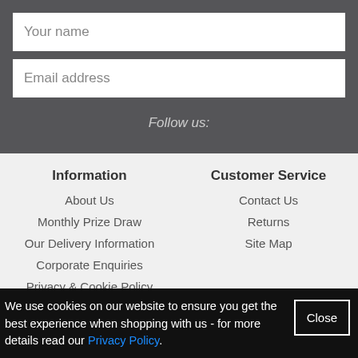Your name
Email address
Follow us:
Information
About Us
Monthly Prize Draw
Our Delivery Information
Corporate Enquiries
Privacy & Cookie Policy
Terms & Conditions
Customer Reviews
Customer Service
Contact Us
Returns
Site Map
We use cookies on our website to ensure you get the best experience when shopping with us - for more details read our Privacy Policy.